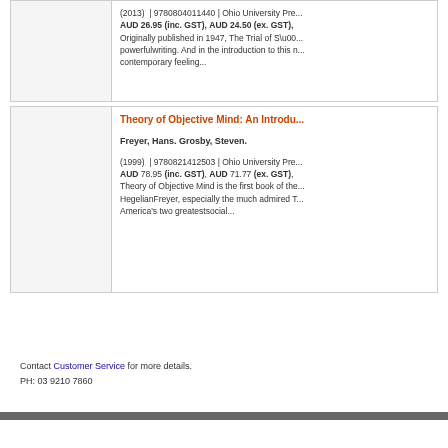(2013) | 9780804011440 | Ohio University Pre... AUD 26.95 (inc. GST), AUD 24.50 (ex. GST), Originally published in 1947, The Trial of S\u00... powerfulwriting. And in the introduction to this n... contemporary feeling...
Theory of Objective Mind: An Introdu...
Freyer, Hans. Grosby, Steven.
(1999) | 9780821412503 | Ohio University Pre... AUD 78.95 (inc. GST), AUD 71.77 (ex. GST), Theory of Objective Mind is the first book of the... HegelianFreyer, especially the much admired T... America's two greatestsocial...
Contact Customer Service for more details.
PH: 03 9210 7860